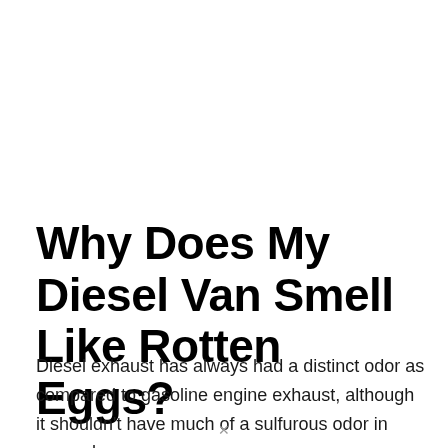Why Does My Diesel Van Smell Like Rotten Eggs?
Diesel exhaust has always had a distinct odor as compared to gasoline engine exhaust, although it shouldn't have much of a sulfurous odor in general.